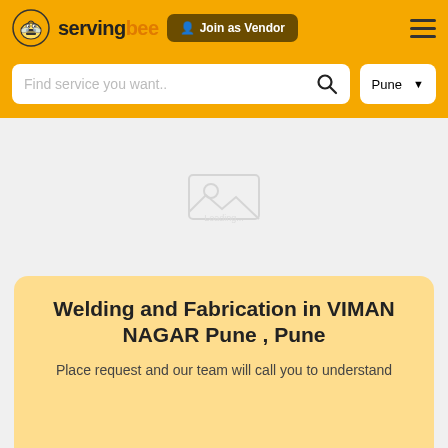[Figure (logo): ServingBee logo with bee icon on the left and text 'servingbee' in bold. A 'Join as Vendor' button in brown/dark yellow is next to it. Hamburger menu icon on the right.]
[Figure (screenshot): Search bar with placeholder 'Find service you want..' with a search icon, and a 'Pune' location dropdown on the right. All on an orange/yellow background.]
[Figure (photo): Gray placeholder area with a faint loading/broken image icon in the center.]
Welding and Fabrication in VIMAN NAGAR Pune , Pune
Place request and our team will call you to understand